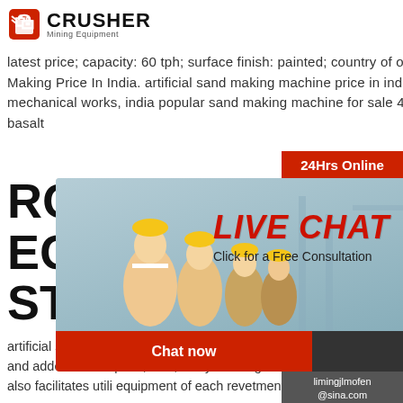[Figure (logo): Crusher Mining Equipment logo with red shopping bag icon and bold CRUSHER text]
latest price; capacity: 60 tph; surface finish: painted; country of origin: made in india. Sand Making Price In India. artificial sand making machine price in india and adderss-jk mechanical works, india popular sand making machine for sale 48 inch basalt stone india basalt
ROCK EQUIP STUD
artificial sand making equipment price in india and adderss. rock making machine price in india and adderss. rock price; cost;dci eyes foreign shores , vizag-based corporation of india the deal also facilitates utili equipment of each revetments and rock works,
ARTIFICIAL ROCK SAN MAKING MACHINERIE
[Figure (screenshot): Live chat popup overlay with workers in hard hats background, LIVE CHAT heading in red, Click for a Free Consultation text, Chat now (red button) and Chat later (dark button)]
[Figure (other): Right sidebar: 24Hrs Online red header, customer service agent photo, Need questions & suggestion? section with Chat Now button, Enquiry link, limingjlmofen@sina.com email]